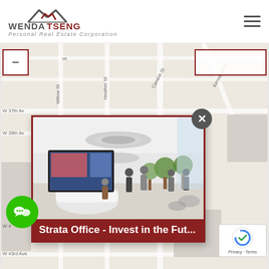[Figure (logo): Wenda Tseng Personal Real Estate Corporation logo with stylized roof/house icon above the text]
[Figure (map): Google Maps screenshot showing Vancouver street map with streets including Willow St, Heather St, Cambie St, Kersland Dr, W 37th Ave, W 38th Ave, W 43rd Ave]
[Figure (photo): Interior rendering of a modern office lobby/co-working space with curved ceiling, reception desk, trees, and people]
Strata Office - Invest in the Fut...